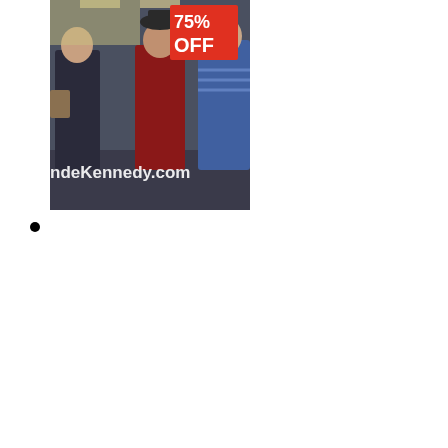[Figure (photo): A photo of shoppers in a retail store with a large '75% OFF' sale sign. The image has a watermark text overlay reading 'ndeKennedy.com'.]